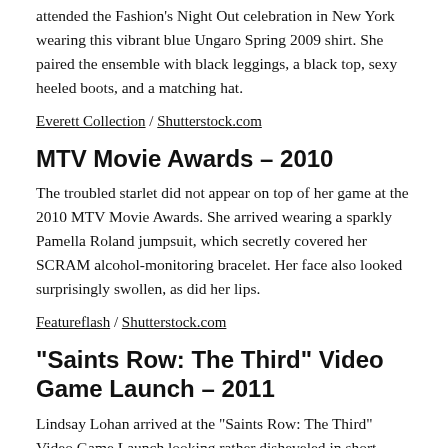attended the Fashion's Night Out celebration in New York wearing this vibrant blue Ungaro Spring 2009 shirt. She paired the ensemble with black leggings, a black top, sexy heeled boots, and a matching hat.
Everett Collection / Shutterstock.com
MTV Movie Awards – 2010
The troubled starlet did not appear on top of her game at the 2010 MTV Movie Awards. She arrived wearing a sparkly Pamella Roland jumpsuit, which secretly covered her SCRAM alcohol-monitoring bracelet. Her face also looked surprisingly swollen, as did her lips.
Featureflash / Shutterstock.com
“Saints Row: The Third” Video Game Launch – 2011
Lindsay Lohan arrived at the “Saints Row: The Third” Video Game Launch looking rather disheveled in short black-sleeved dress with gold heels. Her face and lips both appeared rather